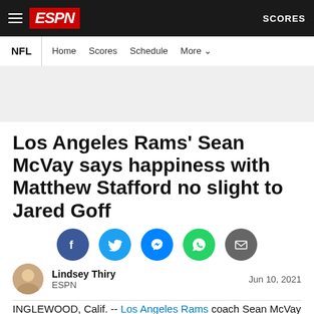ESPN | NFL | Home | Scores | Schedule | More | SCORES
[Figure (other): Gray advertisement placeholder banner]
Los Angeles Rams' Sean McVay says happiness with Matthew Stafford no slight to Jared Goff
[Figure (infographic): Social sharing buttons: Facebook, Twitter, Messenger, WhatsApp, Email]
Lindsey Thiry ESPN — Jun 10, 2021
INGLEWOOD, Calif. -- Los Angeles Rams coach Sean McVay